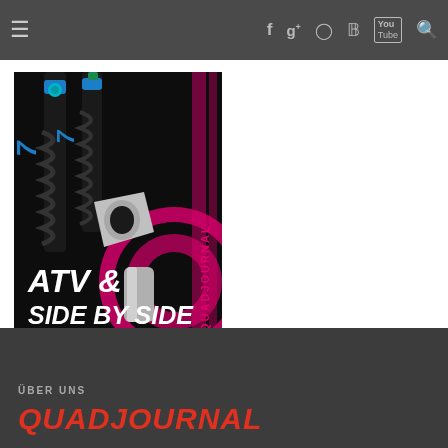≡  f  g+  ◉  P  You Tube  🔍
[Figure (illustration): Advertisement image for ATV & Side by Side Spezialteile showing motorcycle suspension components (coilover shocks) against a dark background with pink graphic elements and white bold italic text reading 'ATV & SIDE BY SIDE SPEZIALTEILE']
ÜBER UNS
QUADJOURNAL